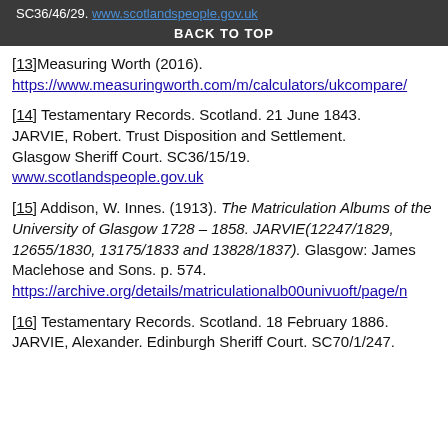SC36/46/29. www.scotlandspeople.gov.uk
BACK TO TOP
[13]Measuring Worth (2016). https://www.measuringworth.com/m/calculators/ukcompare/
[14] Testamentary Records. Scotland. 21 June 1843. JARVIE, Robert. Trust Disposition and Settlement. Glasgow Sheriff Court. SC36/15/19. www.scotlandspeople.gov.uk
[15] Addison, W. Innes. (1913). The Matriculation Albums of the University of Glasgow 1728 – 1858. JARVIE(12247/1829, 12655/1830, 13175/1833 and 13828/1837). Glasgow: James Maclehose and Sons. p. 574. https://archive.org/details/matriculationalb00univuoft/page/n
[16] Testamentary Records. Scotland. 18 February 1886. JARVIE, Alexander. Edinburgh Sheriff Court. SC70/1/247.